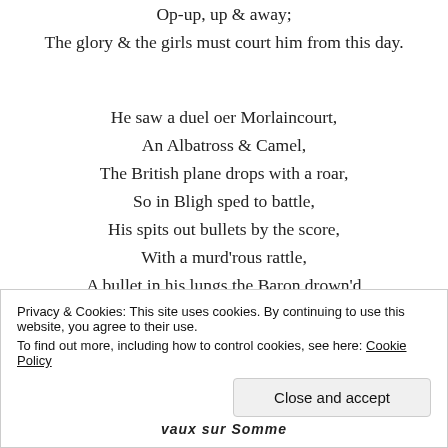Op-up, up & away;
The glory & the girls must court him from this day.
He saw a duel oer Morlaincourt,
An Albatross & Camel,
The British plane drops with a roar,
So in Bligh sped to battle,
His spits out bullets by the score,
With a murd'rous rattle,
A bullet in his lungs the Baron drown'd
In blood, his triplane spiralling to ground.
"I hope he roasted all the way,
That bastard of the sky!"
Privacy & Cookies: This site uses cookies. By continuing to use this website, you agree to their use.
To find out more, including how to control cookies, see here: Cookie Policy
Close and accept
vaux sur Somme